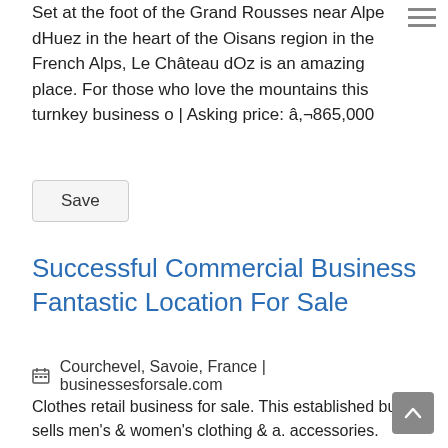Set at the foot of the Grand Rousses near Alpe dHuez in the heart of the Oisans region in the French Alps, Le Château dOz is an amazing place. For those who love the mountains this turnkey business o | Asking price: â,¬865,000
Save
Successful Commercial Business Fantastic Location For Sale
Courchevel, Savoie, France | businessesforsale.com
Clothes retail business for sale. This established busin sells men's & women's clothing & a. accessories. BUSINESS TO INCLUDE : Use of two adjoining ground